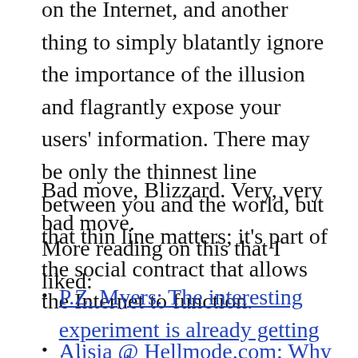on the Internet, and another thing to simply blatantly ignore the importance of the illusion and flagrantly expose your users' information. There may be only the thinnest line between you and the world, but that thin line matters; it's part of the social contract that allows the Internet to function.
Bad move, Blizzard. Very, very bad move.
More reading on this that I liked:
P.Z. Myers: The interesting experiment is already getting interesting
Alisia @ Hellmode.com: Why Real ID is a Really Bad Idea